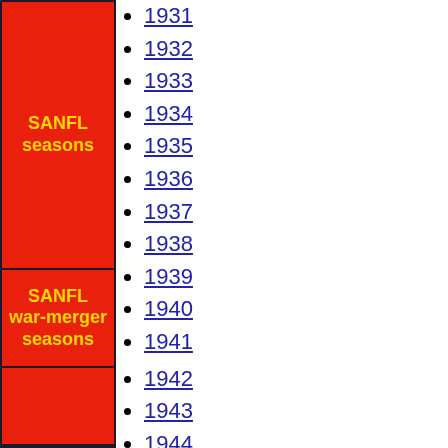SANFL seasons
1931
1932
1933
1934
1935
1936
1937
1938
1939
1940
1941
SANFL war-merger seasons
1942
1943
1944
SANFL seasons
1945
1946
1947
1948
1949
1950
1951
1952
1953